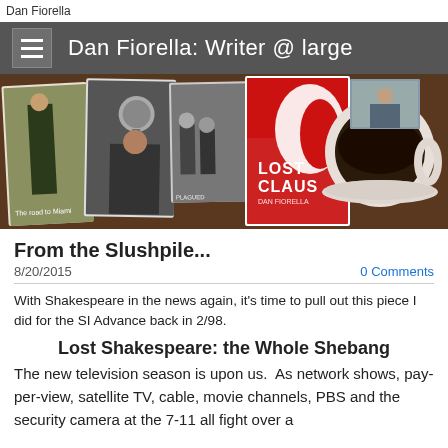Dan Fiorella
Dan Fiorella: Writer @ large
[Figure (photo): Banner collage showing book covers including 'Lost Claus' and 'The road to Miami', a person at a microphone, group photos, and a cup of coffee on a wooden table background.]
From the Slushpile...
8/20/2015
0 Comments
With Shakespeare in the news again, it's time to pull out this piece I did for the SI Advance back in 2/98.
Lost Shakespeare: the Whole Shebang
The new television season is upon us.  As network shows, pay-per-view, satellite TV, cable, movie channels, PBS and the security camera at the 7-11 all fight over a